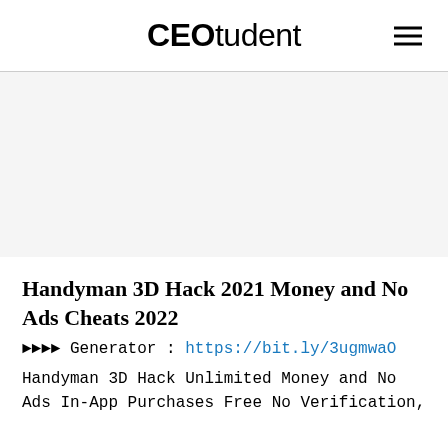CEOtudent
Handyman 3D Hack 2021 Money and No Ads Cheats 2022
►►►► Generator : https://bit.ly/3ugmwaO
Handyman 3D Hack Unlimited Money and No Ads In-App Purchases Free No Verification,